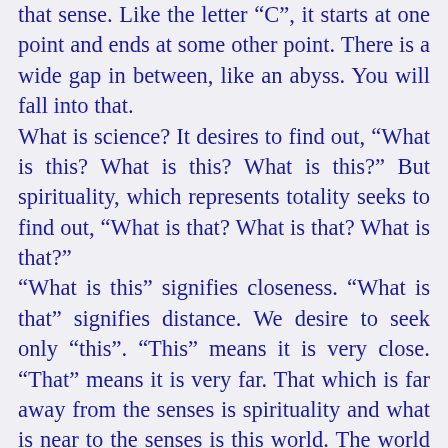that sense. Like the letter “C”, it starts at one point and ends at some other point. There is a wide gap in between, like an abyss. You will fall into that. What is science? It desires to find out, “What is this? What is this? What is this?” But spirituality, which represents totality seeks to find out, “What is that? What is that? What is that?” “What is this” signifies closeness. “What is that” signifies distance. We desire to seek only “this”. “This” means it is very close. “That” means it is very far. That which is far away from the senses is spirituality and what is near to the senses is this world. The world is so near to the senses, but it is not dear. That which is far (spirituality) is dear. Here is a small example where you can see (the truth) for yourself. You all came here to see Sai Baba, from distant lands like Zambia and East Africa. As you live